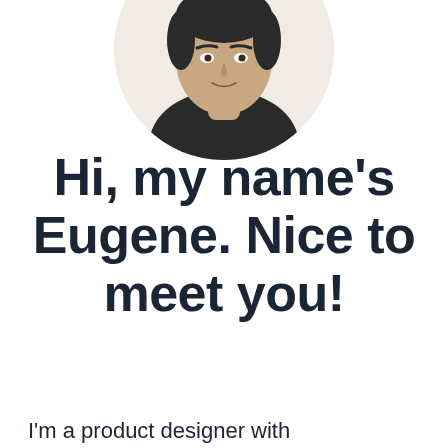[Figure (photo): Circular cropped portrait photo of a man (Eugene) wearing a dark jacket, cropped at the torso, viewed from slightly below, against a light beige/cream background.]
Hi, my name's Eugene. Nice to meet you!
I'm a product designer with